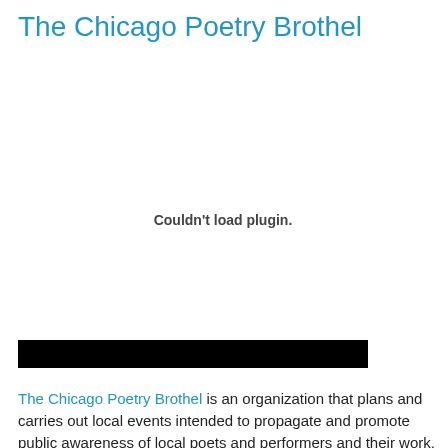The Chicago Poetry Brothel
[Figure (other): Plugin embed area showing 'Couldn't load plugin.' message]
[Figure (other): Black redacted/media control bar]
The Chicago Poetry Brothel is an organization that plans and carries out local events intended to propagate and promote public awareness of local poets and performers and their work. Successful Poetry Brothels currently exist in several cities including: New York, Los Angeles, and Barcelona, Spain, where they have had surprisingly wide-appeal to very diverse audiences. The Chicago Poetry Brothel is the